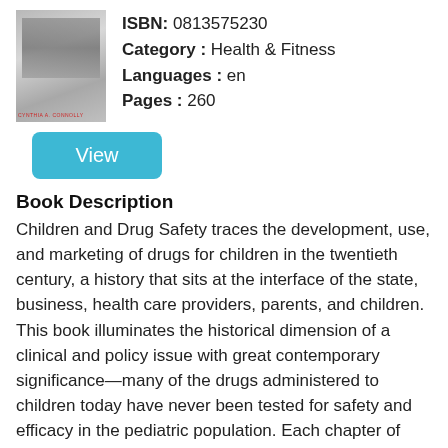[Figure (photo): Book cover thumbnail showing a black and white photograph with text 'CYNTHIA A. CONNOLLY' at the bottom]
ISBN: 0813575230
Category : Health & Fitness
Languages : en
Pages : 260
View
Book Description
Children and Drug Safety traces the development, use, and marketing of drugs for children in the twentieth century, a history that sits at the interface of the state, business, health care providers, parents, and children. This book illuminates the historical dimension of a clinical and policy issue with great contemporary significance—many of the drugs administered to children today have never been tested for safety and efficacy in the pediatric population. Each chapter of Children and Drug Safety engages with major turning points in pediatric drug development; themes of children's risk, rights, protection and the evolving context of childhood; child-rearing; and family life in ways freighted with nuances of race, class,